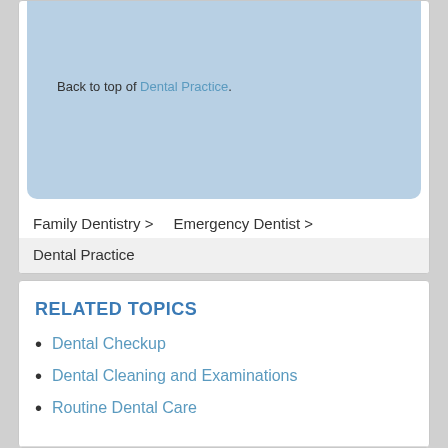Back to top of Dental Practice.
Family Dentistry >   Emergency Dentist >
Dental Practice
RELATED TOPICS
Dental Checkup
Dental Cleaning and Examinations
Routine Dental Care
General Dentist